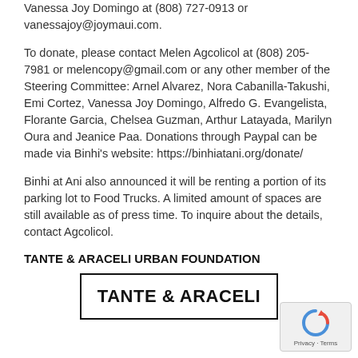Vanessa Joy Domingo at (808) 727-0913 or vanessajoy@joymaui.com.
To donate, please contact Melen Agcolicol at (808) 205-7981 or melencopy@gmail.com or any other member of the Steering Committee: Arnel Alvarez, Nora Cabanilla-Takushi, Emi Cortez, Vanessa Joy Domingo, Alfredo G. Evangelista, Florante Garcia, Chelsea Guzman, Arthur Latayada, Marilyn Oura and Jeanice Paa. Donations through Paypal can be made via Binhi's website: https://binhiatani.org/donate/
Binhi at Ani also announced it will be renting a portion of its parking lot to Food Trucks. A limited amount of spaces are still available as of press time. To inquire about the details, contact Agcolicol.
TANTE & ARACELI URBAN FOUNDATION
[Figure (logo): Logo box with bold text reading TANTE & ARACELI inside a rectangular border]